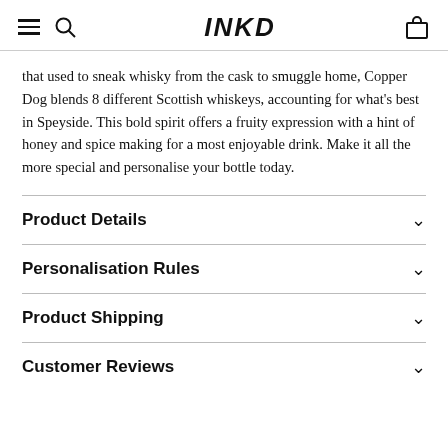INKD
that used to sneak whisky from the cask to smuggle home, Copper Dog blends 8 different Scottish whiskeys, accounting for what's best in Speyside. This bold spirit offers a fruity expression with a hint of honey and spice making for a most enjoyable drink. Make it all the more special and personalise your bottle today.
Product Details
Personalisation Rules
Product Shipping
Customer Reviews